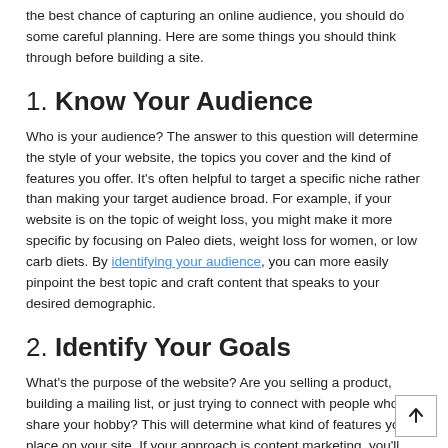the best chance of capturing an online audience, you should do some careful planning. Here are some things you should think through before building a site.
1. Know Your Audience
Who is your audience? The answer to this question will determine the style of your website, the topics you cover and the kind of features you offer. It's often helpful to target a specific niche rather than making your target audience broad. For example, if your website is on the topic of weight loss, you might make it more specific by focusing on Paleo diets, weight loss for women, or low carb diets. By identifying your audience, you can more easily pinpoint the best topic and craft content that speaks to your desired demographic.
2. Identify Your Goals
What's the purpose of the website? Are you selling a product, building a mailing list, or just trying to connect with people who share your hobby? This will determine what kind of features you place on your site. If your approach is content marketing, you'll want to publish lots of useful articles. If you're building an opt-in list, you'll need an appealing offer to get people